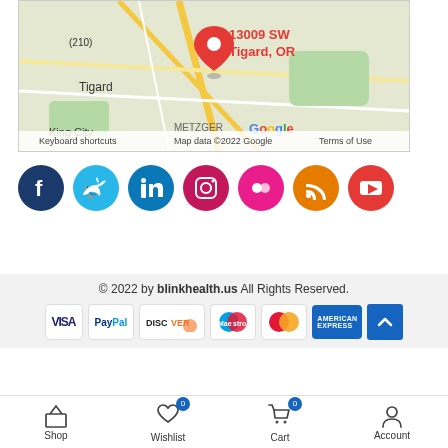[Figure (map): Google Maps showing location pin at 13009 SW, Tigard, OR. Map shows Tigard area with Metzger and King City labels. Copyright text: Keyboard shortcuts | Map data ©2022 Google | Terms of Use]
[Figure (infographic): Row of social media icons: Facebook (dark blue), Twitter (light blue), LinkedIn (blue), Instagram (pink/purple), Flickr (pink), RSS (orange), YouTube (red)]
© 2022 by blinkhealth.us All Rights Reserved.
[Figure (infographic): Payment method logos: VISA, PayPal, DISCOVER, Maestro, MasterCard, American Express]
[Figure (infographic): Bottom navigation bar with icons: Shop (house), Wishlist (heart, badge 0), Cart (bag, badge 0), Account (person)]